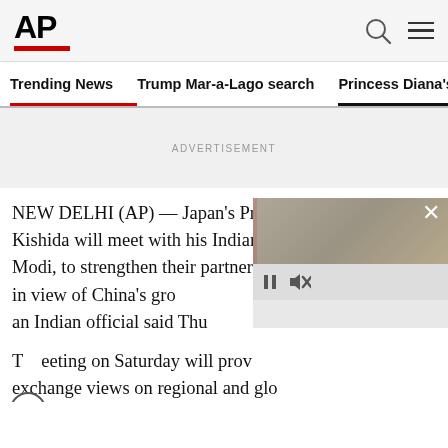AP
Trending News
Trump Mar-a-Lago search
Princess Diana's dea
ADVERTISEMENT
NEW DELHI (AP) — Japan's Prime Minister Fumio Kishida will meet with his Indian c… Modi, to strengthen their partners… and beyond in view of China's gro… region, an Indian official said Thu…
T… eeting on Saturday will prov… exchange views on regional and glo…